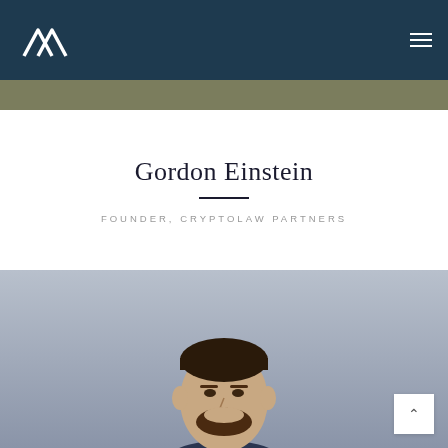METAWEEK
[Figure (photo): Top partial photo strip showing a person, cropped]
Gordon Einstein
FOUNDER, CRYPTOLAW PARTNERS
[Figure (photo): Professional headshot of Gordon Einstein, a man in a dark suit and turtleneck with a beard, against a grey background]